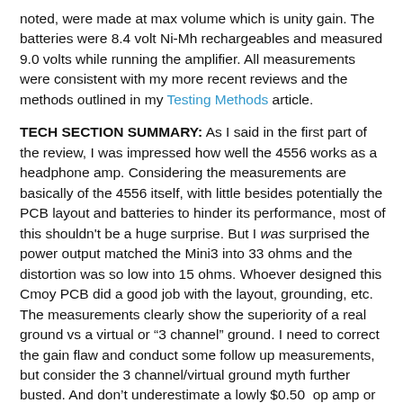noted, were made at max volume which is unity gain. The batteries were 8.4 volt Ni-Mh rechargeables and measured 9.0 volts while running the amplifier. All measurements were consistent with my more recent reviews and the methods outlined in my Testing Methods article.
TECH SECTION SUMMARY: As I said in the first part of the review, I was impressed how well the 4556 works as a headphone amp. Considering the measurements are basically of the 4556 itself, with little besides potentially the PCB layout and batteries to hinder its performance, most of this shouldn't be a huge surprise. But I was surprised the power output matched the Mini3 into 33 ohms and the distortion was so low into 15 ohms. Whoever designed this Cmoy PCB did a good job with the layout, grounding, etc. The measurements clearly show the superiority of a real ground vs a virtual or "3 channel" ground. I need to correct the gain flaw and conduct some follow up measurements, but consider the 3 channel/virtual ground myth further busted. And don't underestimate a lowly $0.50  op amp or Cmoy!